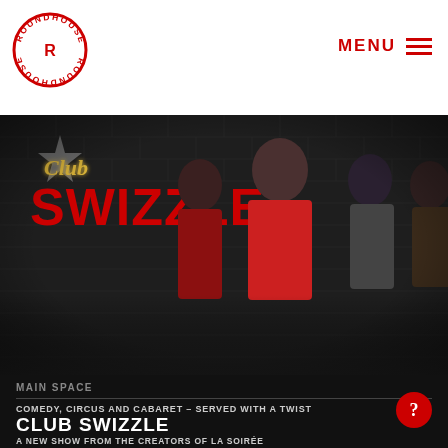ROUNDHOUSE — MENU
[Figure (photo): Club Swizzle promotional image showing four cabaret performers in colorful costumes against a dark brick wall. Center performer in red floral jacket pointing at camera with dramatic makeup. Logo text 'Club Swizzle' in gold script and red block letters with a star.]
MAIN SPACE
COMEDY, CIRCUS AND CABARET – SERVED WITH A TWIST
CLUB SWIZZLE
A NEW SHOW FROM THE CREATORS OF LA SOIRÉE